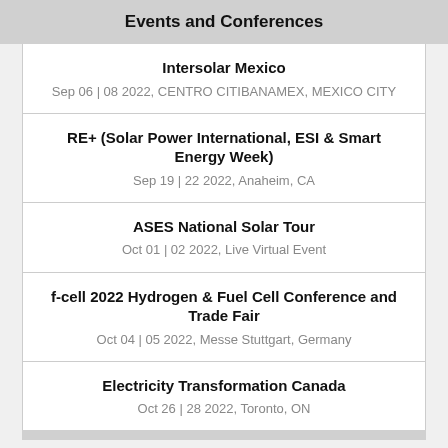Events and Conferences
Intersolar Mexico
Sep 06 | 08 2022, CENTRO CITIBANAMEX, MEXICO CITY
RE+ (Solar Power International, ESI & Smart Energy Week)
Sep 19 | 22 2022, Anaheim, CA
ASES National Solar Tour
Oct 01 | 02 2022, Live Virtual Event
f-cell 2022 Hydrogen & Fuel Cell Conference and Trade Fair
Oct 04 | 05 2022, Messe Stuttgart, Germany
Electricity Transformation Canada
Oct 26 | 28 2022, Toronto, ON